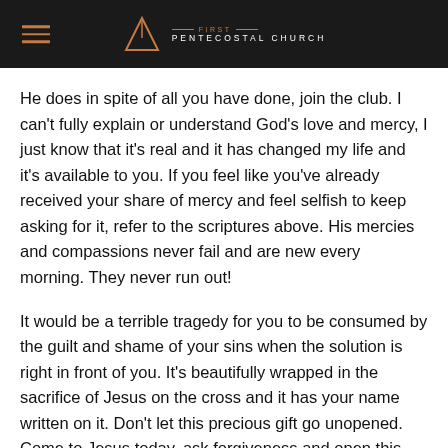FIRST PENTECOSTAL CHURCH
He does in spite of all you have done, join the club. I can't fully explain or understand God's love and mercy, I just know that it's real and it has changed my life and it's available to you. If you feel like you've already received your share of mercy and feel selfish to keep asking for it, refer to the scriptures above. His mercies and compassions never fail and are new every morning. They never run out!
It would be a terrible tragedy for you to be consumed by the guilt and shame of your sins when the solution is right in front of you. It's beautifully wrapped in the sacrifice of Jesus on the cross and it has your name written on it. Don't let this precious gift go unopened. Come to Jesus today, ask forgiveness and open this wonderful gift of mercy.